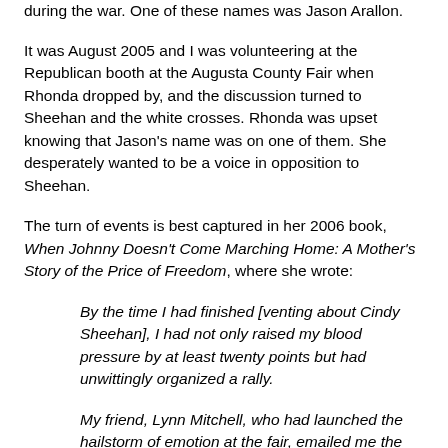during the war. One of these names was Jason Arallon.
It was August 2005 and I was volunteering at the Republican booth at the Augusta County Fair when Rhonda dropped by, and the discussion turned to Sheehan and the white crosses. Rhonda was upset knowing that Jason's name was on one of them. She desperately wanted to be a voice in opposition to Sheehan.
The turn of events is best captured in her 2006 book, When Johnny Doesn't Come Marching Home: A Mother's Story of the Price of Freedom, where she wrote:
By the time I had finished [venting about Cindy Sheehan], I had not only raised my blood pressure by at least twenty points but had unwittingly organized a rally.
My friend, Lynn Mitchell, who had launched the hailstorm of emotion at the fair, emailed me the next evening with a news release for my approval inviting everyone to come join me on the courthouse steps the following weekend for a